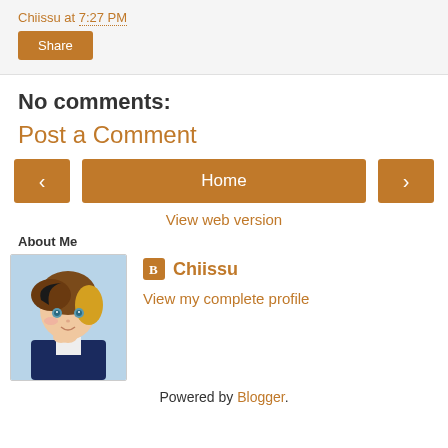Chiissu at 7:27 PM
Share
No comments:
Post a Comment
‹  Home  ›
View web version
About Me
[Figure (photo): Avatar image of anime-style character with brown and blonde hair]
Chiissu
View my complete profile
Powered by Blogger.